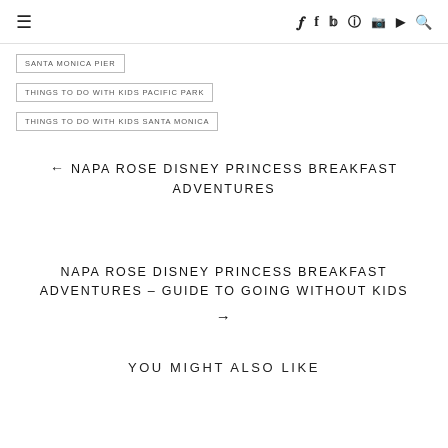≡  f  y  ☆  ✿  ▶  🔍
SANTA MONICA PIER
THINGS TO DO WITH KIDS PACIFIC PARK
THINGS TO DO WITH KIDS SANTA MONICA
← NAPA ROSE DISNEY PRINCESS BREAKFAST ADVENTURES
NAPA ROSE DISNEY PRINCESS BREAKFAST ADVENTURES – GUIDE TO GOING WITHOUT KIDS →
YOU MIGHT ALSO LIKE